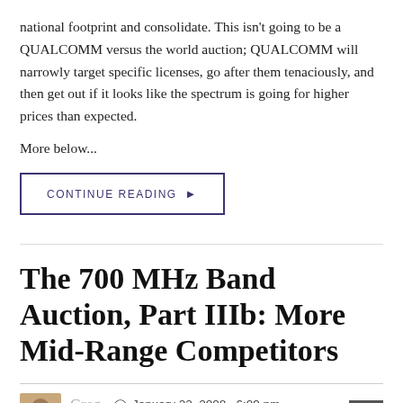national footprint and consolidate. This isn't going to be a QUALCOMM versus the world auction; QUALCOMM will narrowly target specific licenses, go after them tenaciously, and then get out if it looks like the spectrum is going for higher prices than expected.
More below...
CONTINUE READING ▶
The 700 MHz Band Auction, Part IIIb: More Mid-Range Competitors
Greg   January 22, 2008 · 6:09 pm
Econoklastic, General